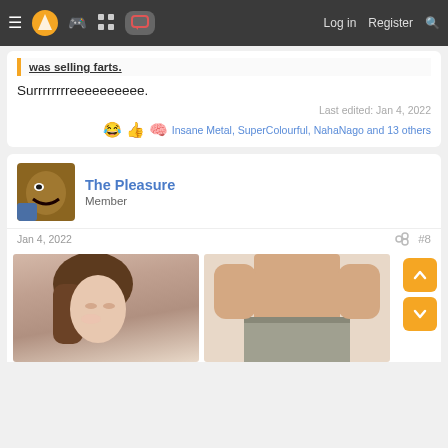Navigation bar with menu, logo, game controller, grid, chat icons, Log in, Register, Search
was selling farts.
Surrrrrrrreeeeeeeeee.
Last edited: Jan 4, 2022
Insane Metal, SuperColourful, NahaNago and 13 others
The Pleasure
Member
Jan 4, 2022
#8
[Figure (photo): Two photos side by side: left shows a woman with brown hair looking down, right shows a person's torso in gray pants with hands on sides]